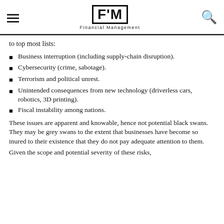FM Financial Management
to top most lists:
Business interruption (including supply-chain disruption).
Cybersecurity (crime, sabotage).
Terrorism and political unrest.
Unintended consequences from new technology (driverless cars, robotics, 3D printing).
Fiscal instability among nations.
These issues are apparent and knowable, hence not potential black swans. They may be grey swans to the extent that businesses have become so inured to their existence that they do not pay adequate attention to them.
Given the scope and potential severity of these risks,